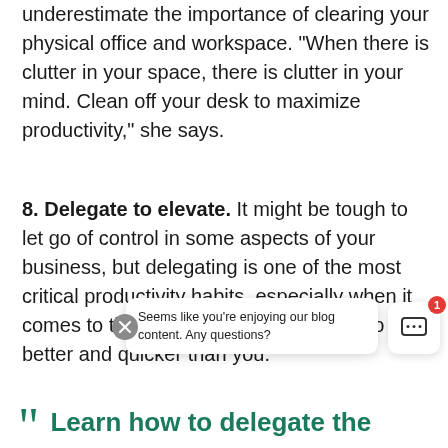underestimate the importance of clearing your physical office and workspace. “When there is clutter in your space, there is clutter in your mind. Clean off your desk to maximize productivity,” she says.
8. Delegate to elevate. It might be tough to let go of control in some aspects of your business, but delegating is one of the most critical productivity habits, especially when it comes to the tasks someone else can do better and quicker than you.
[Figure (screenshot): Chat popup overlay with close button (X), text 'Seems like you’re enjoying our blog content. Any questions?', and a chat icon button with a red badge showing '1']
“ Learn how to delegate the